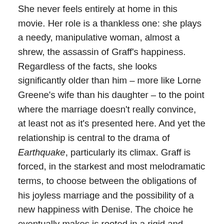She never feels entirely at home in this movie. Her role is a thankless one: she plays a needy, manipulative woman, almost a shrew, the assassin of Graff's happiness. Regardless of the facts, she looks significantly older than him – more like Lorne Greene's wife than his daughter – to the point where the marriage doesn't really convince, at least not as it's presented here. And yet the relationship is central to the drama of Earthquake, particularly its climax. Graff is forced, in the starkest and most melodramatic terms, to choose between the obligations of his joyless marriage and the possibility of a new happiness with Denise. The choice he eventually makes is rooted in a rigid and inflexible morality that feels very anachronistic, given the 1970s setting: there's something very Old Hollywood about this film, so perhaps Ava Gardner does belong here after all.